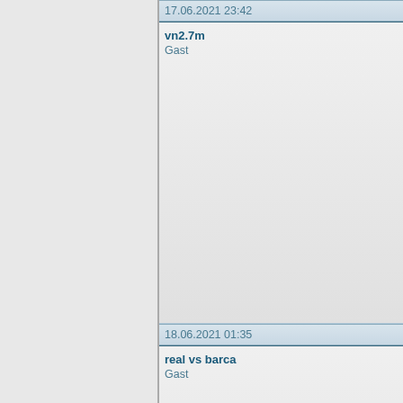17.06.2021 23:42
vn2.7m
Gast
18.06.2021 01:35
real vs barca
Gast
18.06.2021 01:59
kq wc 2018
Gast
18.06.2021 03:47
vtv1 fpt